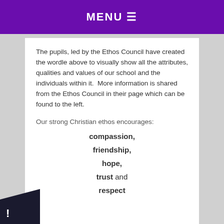MENU ≡
The pupils, led by the Ethos Council have created the wordle above to visually show all the attributes, qualities and values of our school and the individuals within it.  More information is shared from the Ethos Council in their page which can be found to the left.
Our strong Christian ethos encourages:
compassion,
friendship,
hope,
trust and
respect